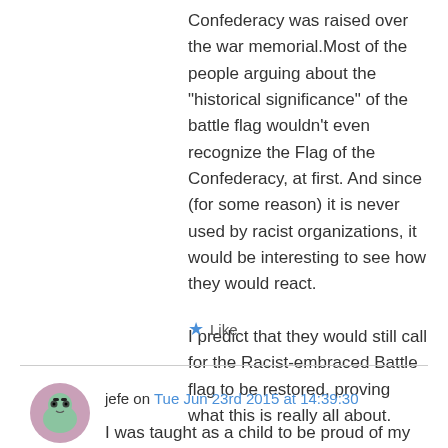Confederacy was raised over the war memorial.Most of the people arguing about the “historical significance” of the battle flag wouldn't even recognize the Flag of the Confederacy, at first. And since (for some reason) it is never used by racist organizations, it would be interesting to see how they would react.

I predict that they would still call for the Racist-embraced Battle flag to be restored, proving what this is really all about.
★ Like
jefe on Tue Jun 23rd 2015 at 14:39:30
I was taught as a child to be proud of my